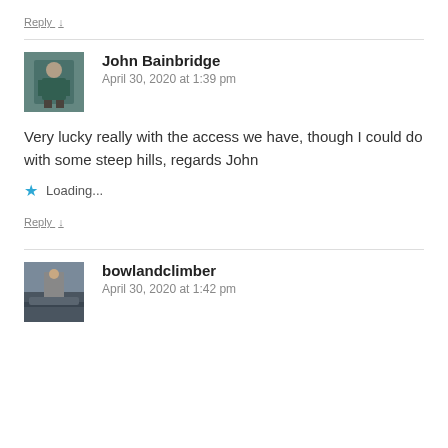Reply ↓
John Bainbridge
April 30, 2020 at 1:39 pm
Very lucky really with the access we have, though I could do with some steep hills, regards John
Loading...
Reply ↓
bowlandclimber
April 30, 2020 at 1:42 pm